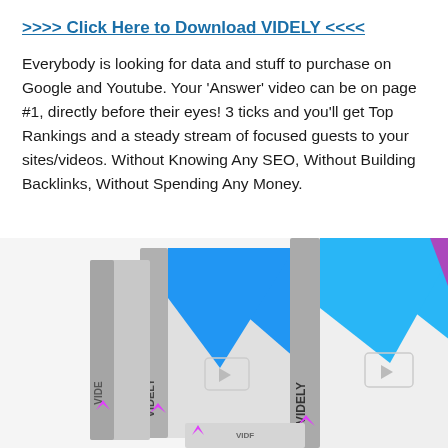>>>> Click Here to Download VIDELY <<<<
Everybody is looking for data and stuff to purchase on Google and Youtube. Your 'Answer' video can be on page #1, directly before their eyes! 3 ticks and you'll get Top Rankings and a steady stream of focused guests to your sites/videos. Without Knowing Any SEO, Without Building Backlinks, Without Spending Any Money.
[Figure (photo): Product box shots showing two VIDELY branded software boxes side by side, with a large blue and purple 'V' logo on white box fronts, and 'VIDELY' text printed vertically on the spines. A third partial box is visible behind them.]